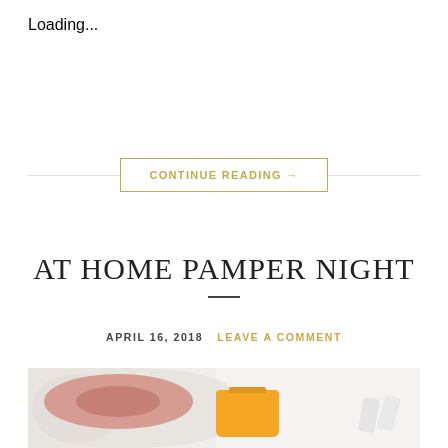Loading...
CONTINUE READING →
AT HOME PAMPER NIGHT
APRIL 16, 2018  LEAVE A COMMENT
[Figure (photo): Flat lay photo of pamper night items: a pink scrunchie on a white textured towel, an orange Amika hair product tube, and two white cotton swabs on a light surface]